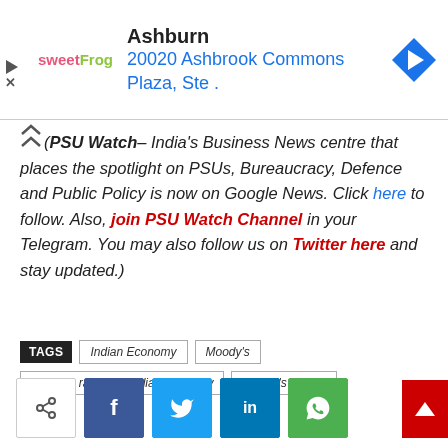[Figure (other): Advertisement banner for sweetFrog showing location: Ashburn, 20020 Ashbrook Commons Plaza, Ste. with a blue navigation arrow icon]
(PSU Watch– India's Business News centre that places the spotlight on PSUs, Bureaucracy, Defence and Public Policy is now on Google News. Click here to follow. Also, join PSU Watch Channel in your Telegram. You may also follow us on Twitter here and stay updated.)
TAGS  Indian Economy  Moody's  Moody's rating on Indian economy  Moody's ratings
[Figure (other): Social share buttons: share icon, Facebook, Twitter, LinkedIn, WhatsApp, and back-to-top red button]